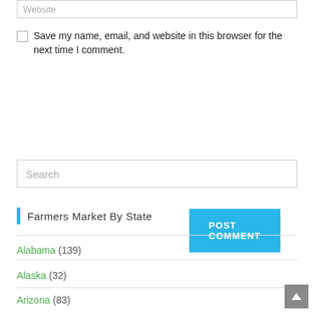Website
Save my name, email, and website in this browser for the next time I comment.
POST COMMENT
Search
Farmers Market By State
Alabama (139)
Alaska (32)
Arizona (83)